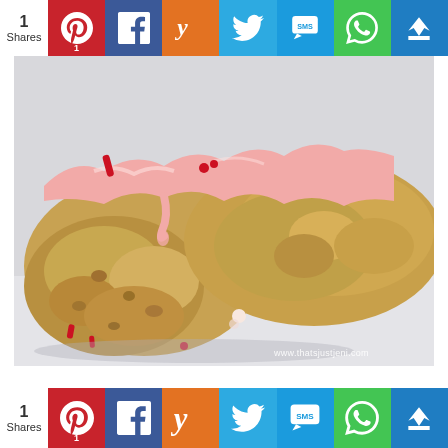[Figure (infographic): Social sharing toolbar with Pinterest, Facebook, Yummly, Twitter, SMS, WhatsApp, and crown/follow buttons. Shows 1 Share count.]
[Figure (photo): Close-up macro photo of a frosted cookie or pastry broken in half, showing pink/white frosting with red sprinkles on top, and a moist crumbly interior. Watermark reads www.thatsjustjeni.com]
[Figure (infographic): Second social sharing toolbar at bottom with same buttons. Shows 1 Share count.]